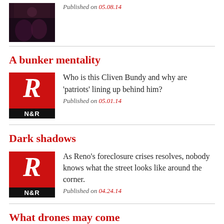[Figure (photo): Thumbnail photo of people at an event, dark tones]
Published on 05.08.14
A bunker mentality
[Figure (logo): N&R logo: red square with white italic R and black bar with N&R text]
Who is this Cliven Bundy and why are 'patriots' lining up behind him?
Published on 05.01.14
Dark shadows
[Figure (logo): N&R logo: red square with white italic R and black bar with N&R text]
As Reno's foreclosure crises resolves, nobody knows what the street looks like around the corner.
Published on 04.24.14
What drones may come